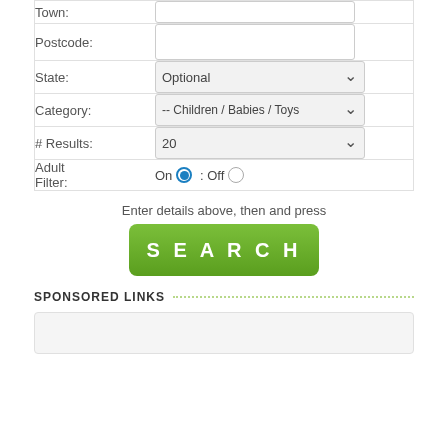| Field | Input |
| --- | --- |
| Town: |  |
| Postcode: |  |
| State: | Optional (dropdown) |
| Category: | -- Children / Babies / Toys (dropdown) |
| # Results: | 20 (dropdown) |
| Adult Filter: | On (selected) : Off |
Enter details above, then and press
SEARCH
SPONSORED LINKS
[Figure (other): Empty sponsored links box]